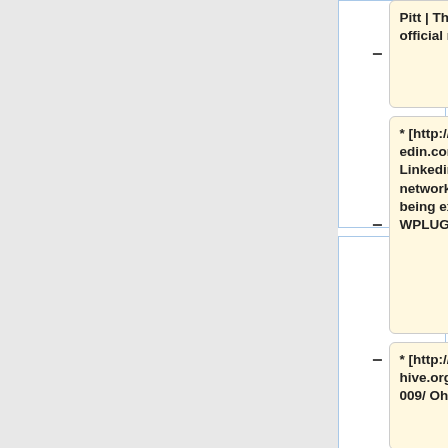Pitt | The Open Pitt]] - The official newsletter of WPLUG.
* [http://www.linkedin.com/groups?gid=150161/ Linkedin] - A professional networking group currently being explored by many WPLUG members.
* [http://www.archive.org/details/OhioLinuxfest2009/ Ohio Linux